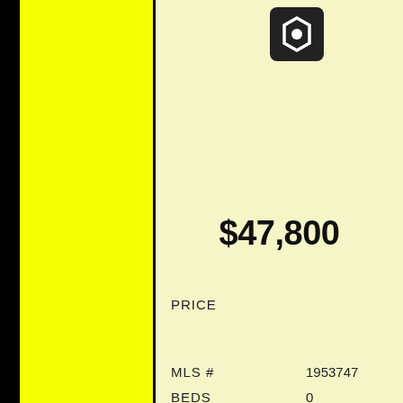[Figure (logo): Dark square logo with a white hexagon/nut icon]
$47,800
PRICE
MLS #   1953747
BEDS   0